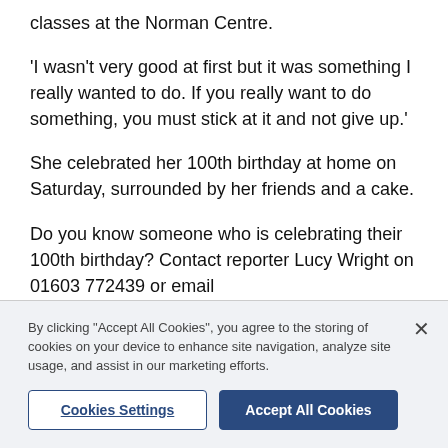classes at the Norman Centre.
'I wasn't very good at first but it was something I really wanted to do. If you really want to do something, you must stick at it and not give up.'
She celebrated her 100th birthday at home on Saturday, surrounded by her friends and a cake.
Do you know someone who is celebrating their 100th birthday? Contact reporter Lucy Wright on 01603 772439 or email lucy.wright@archant.co.uk
By clicking "Accept All Cookies", you agree to the storing of cookies on your device to enhance site navigation, analyze site usage, and assist in our marketing efforts.